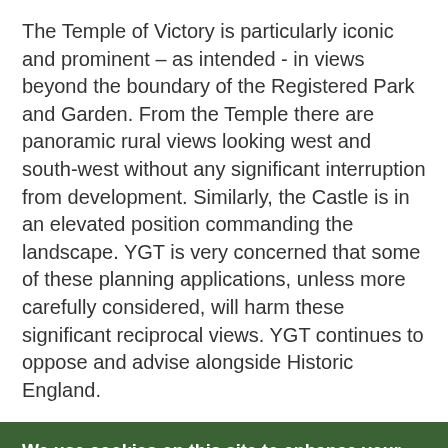The Temple of Victory is particularly iconic and prominent – as intended - in views beyond the boundary of the Registered Park and Garden. From the Temple there are panoramic rural views looking west and south-west without any significant interruption from development. Similarly, the Castle is in an elevated position commanding the landscape. YGT is very concerned that some of these planning applications, unless more carefully considered, will harm these significant reciprocal views. YGT continues to oppose and advise alongside Historic England.
We use cookies on this site to enhance your user experience
By clicking the Accept button, you agree to us doing so. More info